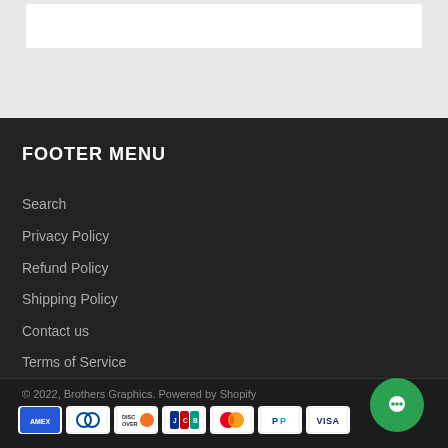FOOTER MENU
Search
Privacy Policy
Refund Policy
Shipping Policy
Contact us
Terms of Service
© 2022, Brothers Graphics. Powered by Shopify
[Figure (other): Payment method icons: American Express, Diners Club, Discover, JCB, Mastercard, PayPal, Visa]
[Figure (other): Green circular chat bubble button]